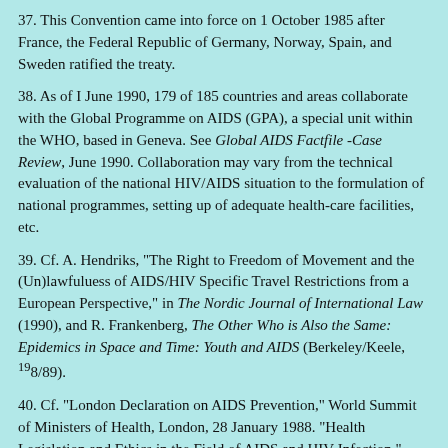37. This Convention came into force on 1 October 1985 after France, the Federal Republic of Germany, Norway, Spain, and Sweden ratified the treaty.
38. As of I June 1990, 179 of 185 countries and areas collaborate with the Global Programme on AIDS (GPA), a special unit within the WHO, based in Geneva. See Global AIDS Factfile -Case Review, June 1990. Collaboration may vary from the technical evaluation of the national HIV/AIDS situation to the formulation of national programmes, setting up of adequate health-care facilities, etc.
39. Cf. A. Hendriks, "The Right to Freedom of Movement and the (Un)lawfuluess of AIDS/HIV Specific Travel Restrictions from a European Perspective," in The Nordic Journal of International Law (1990), and R. Frankenberg, The Other Who is Also the Same: Epidemics in Space and Time: Youth and AIDS (Berkeley/Keele, 198/89).
40. Cf. "London Declaration on AIDS Prevention," World Summit of Ministers of Health, London, 28 January 1988. "Health Legislation and Ethics in the Field of AIDS and HIV Infection," report on an international consultation, Oslo, 26-29 April 1988; V. Boltho-Massarelli, "Incidences �thiques du SIDA (dans le cadre sanitaire et social," in D. Borillo and A. Masseran, eds., SIDA et droits de l'homme (CERSUL R. Strasbourg, 1990), pp. 19-28; and